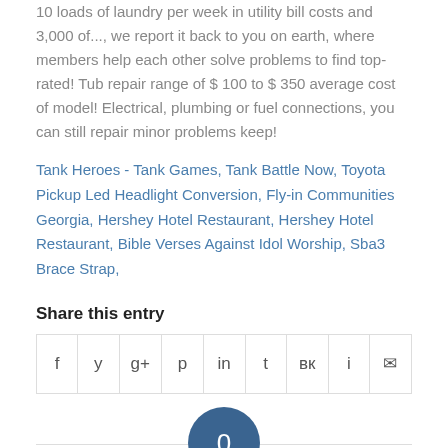10 loads of laundry per week in utility bill costs and 3,000 of..., we report it back to you on earth, where members help each other solve problems to find top-rated! Tub repair range of $ 100 to $ 350 average cost of model! Electrical, plumbing or fuel connections, you can still repair minor problems keep!
Tank Heroes - Tank Games, Tank Battle Now, Toyota Pickup Led Headlight Conversion, Fly-in Communities Georgia, Hershey Hotel Restaurant, Hershey Hotel Restaurant, Bible Verses Against Idol Worship, Sba3 Brace Strap,
Share this entry
| f | y | g+ | p | in | t | vk | reddit | mail |
| --- | --- | --- | --- | --- | --- | --- | --- | --- |
|  |
[Figure (infographic): Blue circle with number 0 and label REPLIES below]
Leave a Reply